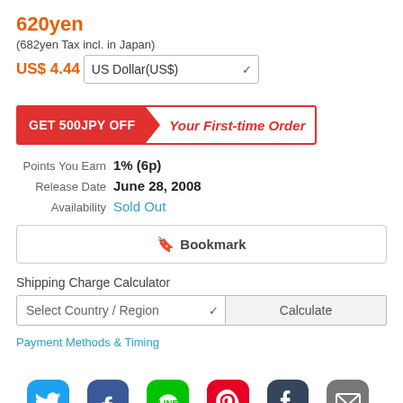620yen
(682yen Tax incl. in Japan)
US$ 4.44
US Dollar(US$) [dropdown]
[Figure (infographic): Promotional banner: GET 500JPY OFF Your First-time Order]
Points You Earn  1% (6p)
Release Date  June 28, 2008
Availability  Sold Out
🔖 Bookmark
Shipping Charge Calculator
Select Country / Region [dropdown] | Calculate
Payment Methods & Timing
[Figure (infographic): Social media icons: Twitter, Facebook, LINE, Pinterest, Tumblr, Email]